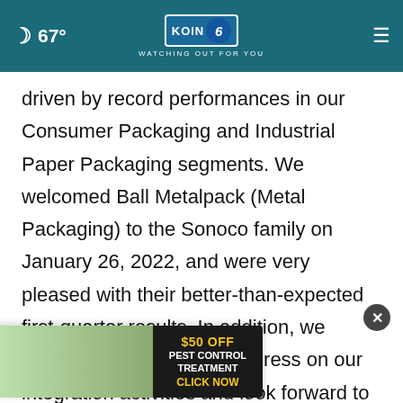[Figure (screenshot): KOIN 6 CBS TV station website navigation bar with moon icon, 67° temperature, KOIN 6 CBS logo with 'WATCHING OUT FOR YOU' tagline, and hamburger menu icon on a teal background]
driven by record performances in our Consumer Packaging and Industrial Paper Packaging segments. We welcomed Ball Metalpack (Metal Packaging) to the Sonoco family on January 26, 2022, and were very pleased with their better-than-expected first-quarter results. In addition, we continue to make solid progress on our integration activities and look forward to the contributions the Metal Packaging team will make to the future success of Sonoco. Overall, the C...ited
[Figure (photo): Eco Care Pest Control advertisement banner offering $50 OFF Pest Control Treatment with a 'CLICK NOW' call to action, showing a butterfly logo and dark background with pest imagery. Includes a close (X) button.]